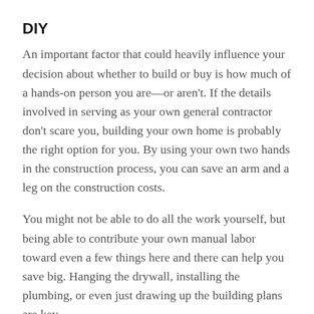DIY
An important factor that could heavily influence your decision about whether to build or buy is how much of a hands-on person you are—or aren't. If the details involved in serving as your own general contractor don't scare you, building your own home is probably the right option for you. By using your own two hands in the construction process, you can save an arm and a leg on the construction costs.
You might not be able to do all the work yourself, but being able to contribute your own manual labor toward even a few things here and there can help you save big. Hanging the drywall, installing the plumbing, or even just drawing up the building plans are key